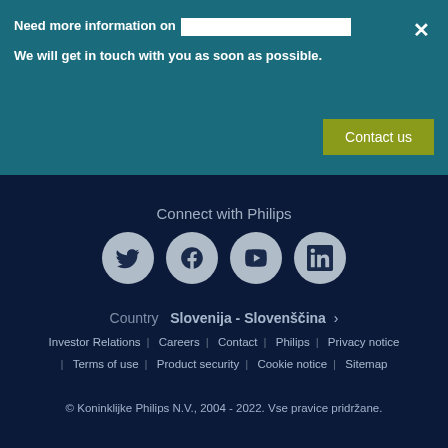Need more information on Advanced Statistical Imaging? We will get in touch with you as soon as possible.
Contact us
Connect with Philips
[Figure (illustration): Social media icons: Twitter, Facebook, YouTube, LinkedIn in circular grey buttons on dark blue background]
Country  Slovenija - Slovenščina  >
Investor Relations | Careers | Contact | Philips | Privacy notice | Terms of use | Product security | Cookie notice | Sitemap  © Koninklijke Philips N.V., 2004 - 2022. Vse pravice pridržane.